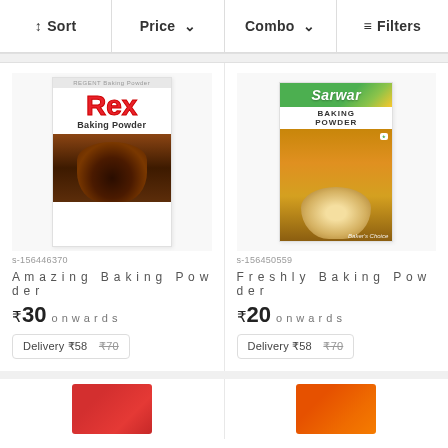↕ Sort  Price ∨  Combo ∨  ≡ Filters
[Figure (photo): Rex Baking Powder product box with red logo and chocolate muffin image]
s-156446370
Amazing Baking Powder
₹30 onwards
Delivery ₹58  ₹70
[Figure (photo): Sarwar Baking Powder product box with green top, brand name, and muffin image]
s-156450559
Freshly Baking Powder
₹20 onwards
Delivery ₹58  ₹70